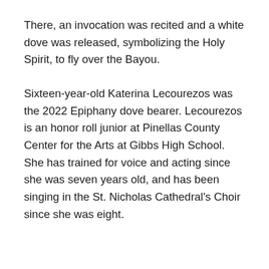There, an invocation was recited and a white dove was released, symbolizing the Holy Spirit, to fly over the Bayou.
Sixteen-year-old Katerina Lecourezos was the 2022 Epiphany dove bearer. Lecourezos is an honor roll junior at Pinellas County Center for the Arts at Gibbs High School. She has trained for voice and acting since she was seven years old, and has been singing in the St. Nicholas Cathedral's Choir since she was eight.